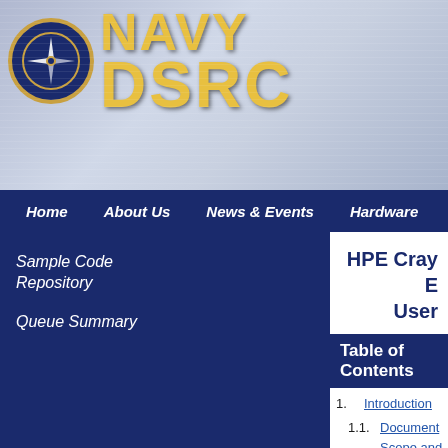[Figure (logo): Navy DSRC logo with compass rose emblem and yellow text on blue background]
Home  About Us  News & Events  Hardware  Software
Sample Code Repository
Queue Summary
HPE Cray E User
Table of Contents
1. Introduction
1.1. Document Scope and Assumptions
1.2. Policies to Review
1.2.1. Login Node Abuse Policy
1.2.2. Workspace Purge Policy
1.3. Obtaining an Account
1.4. Requesting Assistance
2. System Configuration
2.1. System Summary
2.2. Processors
2.3. Memory